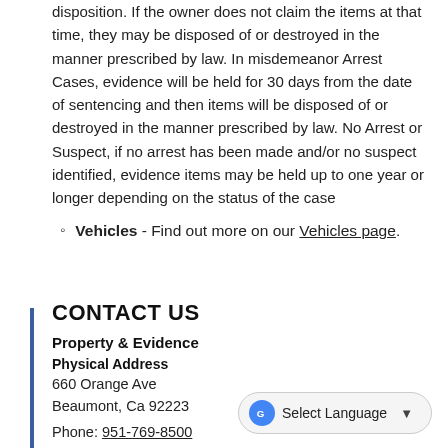disposition. If the owner does not claim the items at that time, they may be disposed of or destroyed in the manner prescribed by law. In misdemeanor Arrest Cases, evidence will be held for 30 days from the date of sentencing and then items will be disposed of or destroyed in the manner prescribed by law. No Arrest or Suspect, if no arrest has been made and/or no suspect identified, evidence items may be held up to one year or longer depending on the status of the case
Vehicles - Find out more on our Vehicles page.
CONTACT US
Property & Evidence
Physical Address
660 Orange Ave
Beaumont, Ca 92223
Phone: 951-769-8500